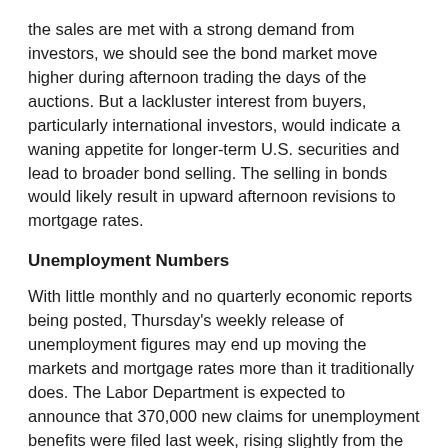the sales are met with a strong demand from investors, we should see the bond market move higher during afternoon trading the days of the auctions. But a lackluster interest from buyers, particularly international investors, would indicate a waning appetite for longer-term U.S. securities and lead to broader bond selling. The selling in bonds would likely result in upward afternoon revisions to mortgage rates.
Unemployment Numbers
With little monthly and no quarterly economic reports being posted, Thursday's weekly release of unemployment figures may end up moving the markets and mortgage rates more than it traditionally does. The Labor Department is expected to announce that 370,000 new claims for unemployment benefits were filed last week, rising slightly from the previous week's total. The higher the number of new claims for benefits, the better the news for the bond market and mortgage pricing as it would indicate weakness in the